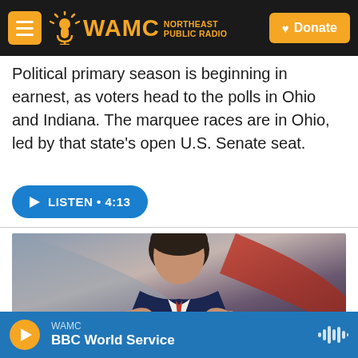WAMC NORTHEAST PUBLIC RADIO — Donate
Political primary season is beginning in earnest, as voters head to the polls in Ohio and Indiana. The marquee races are in Ohio, led by that state's open U.S. Senate seat.
LISTEN • 4:13
[Figure (photo): Man in a blue suit with a red tie, gesturing with both hands, speaking. Background has red and grey curved architectural elements.]
WAMC — BBC World Service